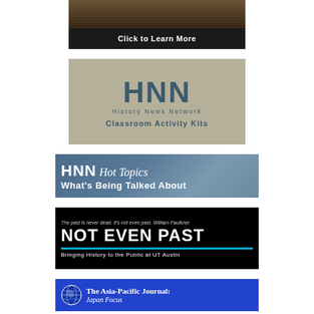[Figure (illustration): Dark landscape/nature image with black bar below reading 'Click to Learn More']
[Figure (logo): HNN History News Network - Classroom Activity Kits logo on tan/khaki background]
[Figure (illustration): HNN Hot Topics - What's Being Talked About banner on blue-grey background]
[Figure (illustration): NOT EVEN PAST - Bringing History to the Public at UT Austin banner on black background]
[Figure (illustration): The Asia-Pacific Journal: Japan Focus banner on blue background with globe icon]